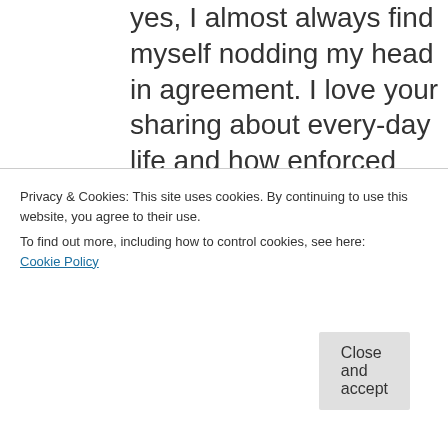yes, I almost always find myself nodding my head in agreement. I love your sharing about every-day life and how enforced chastity fits in (or sometimes doesn't fit in). I can relate to so many things including a "Mrs. Seeking" who has no libido either.

If you ever travel to the San
[Figure (other): Hamburger menu icon (three horizontal lines) in a light gray box]
Privacy & Cookies: This site uses cookies. By continuing to use this website, you agree to their use.
To find out more, including how to control cookies, see here:
Cookie Policy
Close and accept